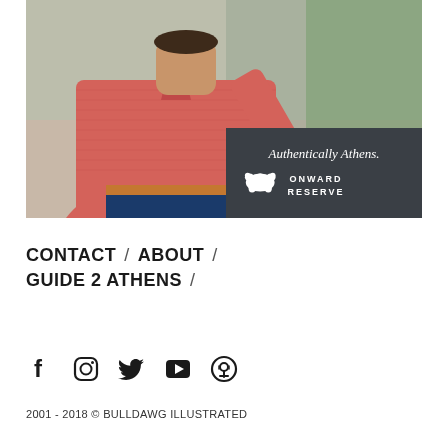[Figure (photo): Man wearing a red/pink polo shirt with a UGA logo pin, jeans, and a woven belt. He is standing outdoors at what appears to be a tailgate or event. Overlaid in the lower right is a dark gray box reading 'Authentically Athens.' with the Onward Reserve bear logo and brand name.]
CONTACT / ABOUT / GUIDE 2 ATHENS /
[Figure (infographic): Social media icons: Facebook (f), Instagram (circle camera), Twitter (bird), YouTube (play button square), Podcast (circle with lines)]
2001 - 2018 © BULLDAWG ILLUSTRATED